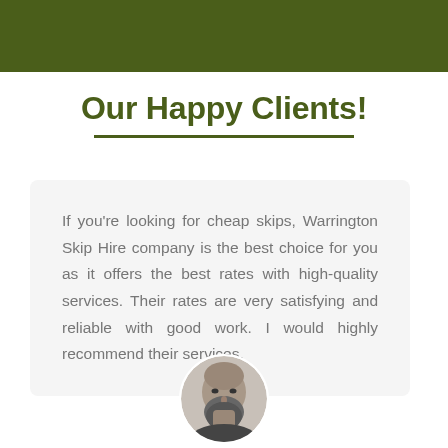Our Happy Clients!
If you're looking for cheap skips, Warrington Skip Hire company is the best choice for you as it offers the best rates with high-quality services. Their rates are very satisfying and reliable with good work. I would highly recommend their services.
[Figure (photo): Circular black-and-white portrait photo of a bald bearded man, partially visible at the bottom of the page]